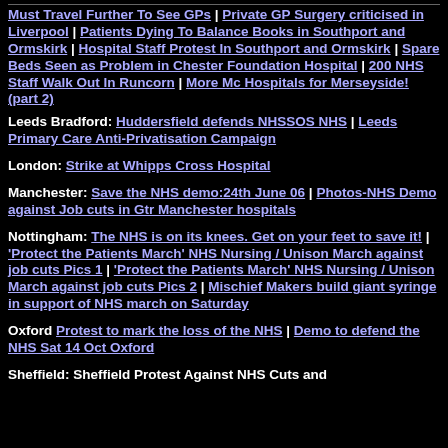Must Travel Further To See GPs | Private GP Surgery criticised in Liverpool | Patients Dying To Balance Books in Southport and Ormskirk | Hospital Staff Protest In Southport and Ormskirk | Spare Beds Seen as Problem in Chester Foundation Hospital | 200 NHS Staff Walk Out In Runcorn | More Mc Hospitals for Merseyside! (part 2)
Leeds Bradford: Huddersfield defends NHSSOS NHS | Leeds Primary Care Anti-Privatisation Campaign
London: Strike at Whipps Cross Hospital
Manchester: Save the NHS demo:24th June 06 | Photos-NHS Demo against Job cuts in Gtr Manchester hospitals
Nottingham: The NHS is on its knees. Get on your feet to save it! | 'Protect the Patients March' NHS Nursing / Unison March against job cuts Pics 1 | 'Protect the Patients March' NHS Nursing / Unison March against job cuts Pics 2 | Mischief Makers build giant syringe in support of NHS march on Saturday
Oxford Protest to mark the loss of the NHS | Demo to defend the NHS Sat 14 Oct Oxford
Sheffield: Sheffield Protest Against NHS Cuts and